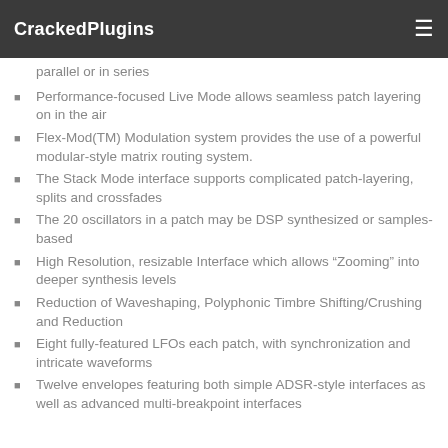CrackedPlugins
parallel or in series
Performance-focused Live Mode allows seamless patch layering on in the air
Flex-Mod(TM) Modulation system provides the use of a powerful modular-style matrix routing system.
The Stack Mode interface supports complicated patch-layering, splits and crossfades
The 20 oscillators in a patch may be DSP synthesized or samples-based
High Resolution, resizable Interface which allows “Zooming” into deeper synthesis levels
Reduction of Waveshaping, Polyphonic Timbre Shifting/Crushing and Reduction
Eight fully-featured LFOs each patch, with synchronization and intricate waveforms
Twelve envelopes featuring both simple ADSR-style interfaces as well as advanced multi-breakpoint interfaces